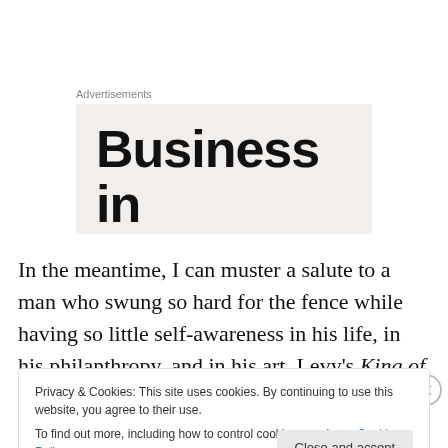Advertisements
[Figure (other): Advertisement box with large bold text reading 'Business in the front' on a light beige background]
In the meantime, I can muster a salute to a man who swung so hard for the fence while having so little self-awareness in his life, in his philanthropy, and in his art. Levy's King of Comedy theorizes convincingly that the
Privacy & Cookies: This site uses cookies. By continuing to use this website, you agree to their use.
To find out more, including how to control cookies, see here: Cookie Policy